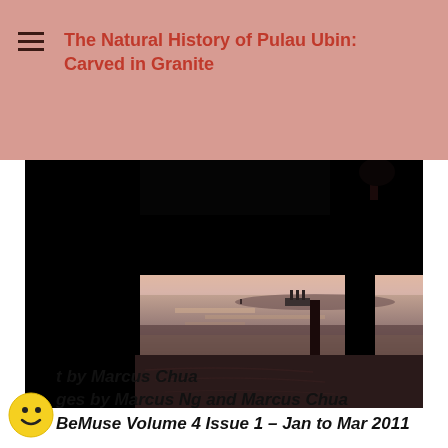The Natural History of Pulau Ubin: Carved in Granite
[Figure (photo): Photograph taken from under a dark structure (pier or jetty), looking out over a tidal flat at sunset with pink and orange sky, water reflections and silhouetted support pillars.]
Text by Marcus Chua
Images by Marcus Ng and Marcus Chua
BeMuse Volume 4 Issue 1 – Jan to Mar 2011